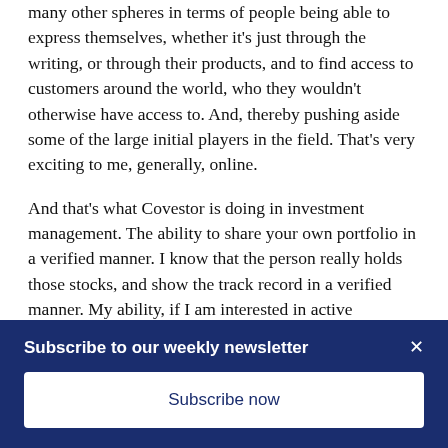many other spheres in terms of people being able to express themselves, whether it's just through the writing, or through their products, and to find access to customers around the world, who they wouldn't otherwise have access to. And, thereby pushing aside some of the large initial players in the field. That's very exciting to me, generally, online.
And that's what Covestor is doing in investment management. The ability to share your own portfolio in a verified manner. I know that the person really holds those stocks, and show the track record in a verified manner. My ability, if I am interested in active investing, that is I am
Subscribe to our weekly newsletter
Subscribe now